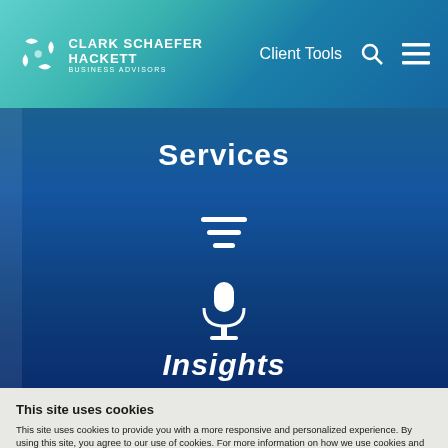[Figure (logo): Clark Schaefer Hackett Business Advisors logo with navigation bar including Client Tools, search icon, and menu icon on teal/blue gradient background]
Services
[Figure (illustration): Filter/list icon in white on dark blue background]
[Figure (illustration): Microphone/podcast icon in white on dark blue background]
Insights
This site uses cookies
This site uses cookies to provide you with a more responsive and personalized experience. By using this site, you agree to our use of cookies. For more information on how we use cookies and how you can manage them, please read our Privacy Policy.
Accept & Close
Show details